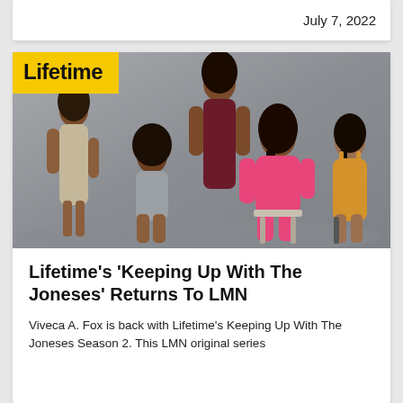July 7, 2022
[Figure (photo): Five women posing together for a promotional photo with a Lifetime network logo badge. One woman stands at the left in a beige dress, one sits in the center in a grey tank, one stands in back in a dark top, one sits in the center-right in a pink suit, and one sits at the right in a yellow/gold dress. Grey background.]
Lifetime's ‘Keeping Up With The Joneses’ Returns To LMN
Viveca A. Fox is back with Lifetime’s Keeping Up With The Joneses Season 2. This LMN original series